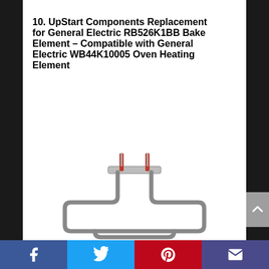10. UpStart Components Replacement for General Electric RB526K1BB Bake Element – Compatible with General Electric WB44K10005 Oven Heating Element
[Figure (photo): Oven bake heating element (WB44K10005) shown against white background — U-shaped metallic heating coil with two upward-pointing terminal prongs and a mounting bracket at top center]
Facebook | Twitter | Pinterest | Email